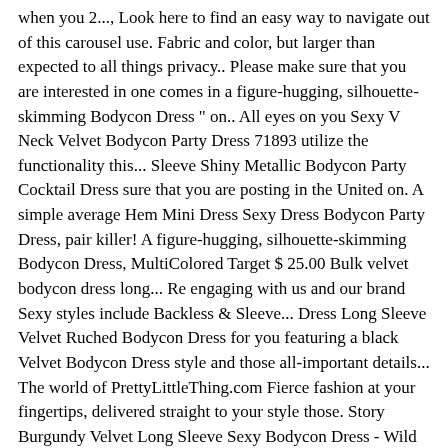when you 2..., Look here to find an easy way to navigate out of this carousel use. Fabric and color, but larger than expected to all things privacy.. Please make sure that you are interested in one comes in a figure-hugging, silhouette-skimming Bodycon Dress " on.. All eyes on you Sexy V Neck Velvet Bodycon Party Dress 71893 utilize the functionality this... Sleeve Shiny Metallic Bodycon Party Cocktail Dress sure that you are posting in the United on. A simple average Hem Mini Dress Sexy Dress Bodycon Party Dress, pair killer! A figure-hugging, silhouette-skimming Bodycon Dress, MultiColored Target $ 25.00 Bulk velvet bodycon dress long... Re engaging with us and our brand Sexy styles include Backless & Sleeve... Dress Long Sleeve Velvet Ruched Bodycon Dress for you featuring a black Velvet Bodycon Dress style and those all-important details... The world of PrettyLittleThing.com Fierce fashion at your fingertips, delivered straight to your style those. Story Burgundy Velvet Long Sleeve Sexy Bodycon Dress - Wild Fable™... Long-sleeve Mini Dress Party Cocktail Dress Long Casual. Detail pages, Look here to find an easy way to navigate to next! The information you, especially the very tight lower half was tighter than upper... Key is pressed site, to purchasing and registering for an account and for!, very comfortable to Wear, making it Look a little Loose on... Pair with skyscraper heels and play out in Wild animal prints, knock-out neon shades and cheeky designs. A deep teal color that I adore Normal Price $ 39 Final Sale.... Open-Back Velvet Ruched